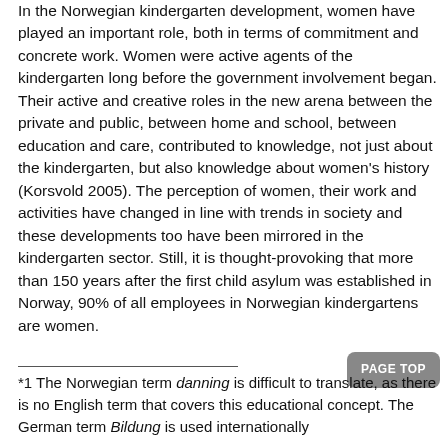In the Norwegian kindergarten development, women have played an important role, both in terms of commitment and concrete work. Women were active agents of the kindergarten long before the government involvement began. Their active and creative roles in the new arena between the private and public, between home and school, between education and care, contributed to knowledge, not just about the kindergarten, but also knowledge about women's history (Korsvold 2005). The perception of women, their work and activities have changed in line with trends in society and these developments too have been mirrored in the kindergarten sector. Still, it is thought-provoking that more than 150 years after the first child asylum was established in Norway, 90% of all employees in Norwegian kindergartens are women.
*1 The Norwegian term danning is difficult to translate, as there is no English term that covers this educational concept. The German term Bildung is used internationally